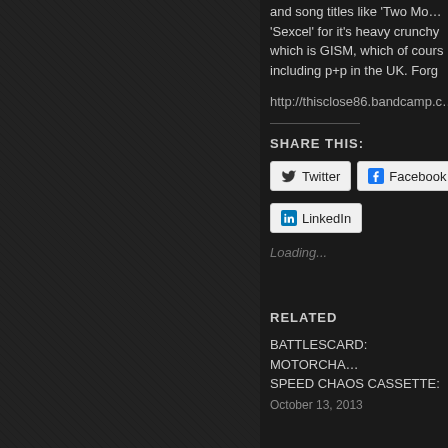and song titles like 'Two Mo... 'Sexcel' for it's heavy crunchy... which is GISM, which of cours... including p+p in the UK. Forg...
http://thisclose86.bandcamp.c...
SHARE THIS:
Twitter
Facebook
LinkedIn
Loading...
RELATED
BATTLESCARD: MOTORCHA... SPEED CHAOS CASSETTE:
October 13, 2013